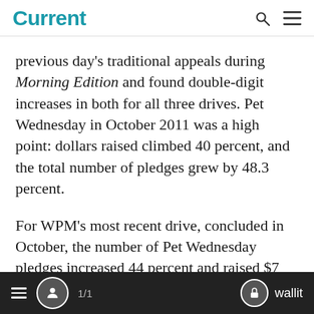Current
previous day’s traditional appeals during Morning Edition and found double-digit increases in both for all three drives. Pet Wednesday in October 2011 was a high point: dollars raised climbed 40 percent, and the total number of pledges grew by 48.3 percent.
For WPM’s most recent drive, concluded in October, the number of Pet Wednesday pledges increased 44 percent and raised $7... a 20 percent increase over the
1/1  wallit